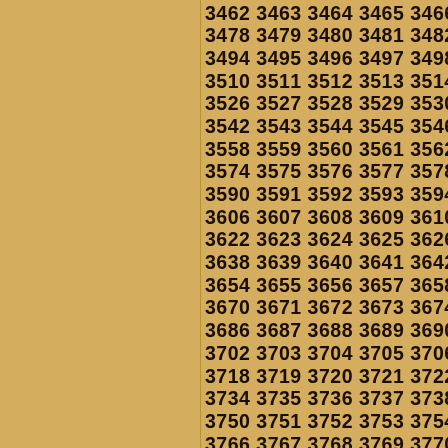3462 3463 3464 3465 3466 3467 3468 3478 3479 3480 3481 3482 3483 3484 3494 3495 3496 3497 3498 3499 3500 3510 3511 3512 3513 3514 3515 3516 3526 3527 3528 3529 3530 3531 3532 3542 3543 3544 3545 3546 3547 3548 3558 3559 3560 3561 3562 3563 3564 3574 3575 3576 3577 3578 3579 3580 3590 3591 3592 3593 3594 3595 3596 3606 3607 3608 3609 3610 3611 3612 3622 3623 3624 3625 3626 3627 3628 3638 3639 3640 3641 3642 3643 3644 3654 3655 3656 3657 3658 3659 3660 3670 3671 3672 3673 3674 3675 3676 3686 3687 3688 3689 3690 3691 3692 3702 3703 3704 3705 3706 3707 3708 3718 3719 3720 3721 3722 3723 3724 3734 3735 3736 3737 3738 3739 3740 3750 3751 3752 3753 3754 3755 3756 3766 3767 3768 3769 3770 3771 3772 3782 3783 3784 3785 3786 3787 3788 3798 3799 3800 3801 3802 3803 3804